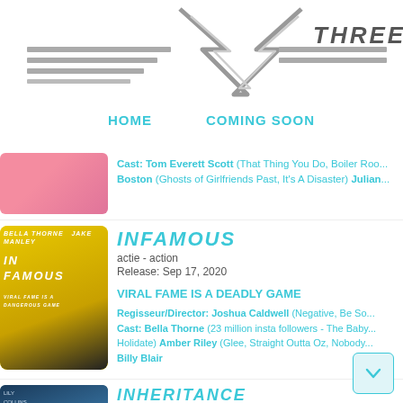[Figure (logo): Three L logo with angular lines and lightning bolt shape, partially cropped on right]
HOME   COMING SOON
Cast: Tom Everett Scott (That Thing You Do, Boiler Room... Boston (Ghosts of Girlfriends Past, It's A Disaster) Julian...
INFAMOUS
actie - action
Release: Sep 17, 2020
VIRAL FAME IS A DEADLY GAME
Regisseur/Director: Joshua Caldwell (Negative, Be So... Cast: Bella Thorne (23 million insta followers - The Baby... Holidate) Amber Riley (Glee, Straight Outta Oz, Nobody... Billy Blair
INHERITANCE
thriller
Release: Jun 18, 2020